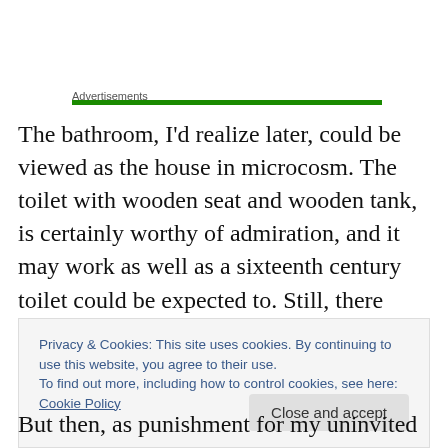Advertisements
The bathroom, I'd realize later, could be viewed as the house in microcosm. The toilet with wooden seat and wooden tank, is certainly worthy of admiration, and it may work as well as a sixteenth century toilet could be expected to. Still, there could be improvements. The door to the room won't even think about properly closing due to
Privacy & Cookies: This site uses cookies. By continuing to use this website, you agree to their use.
To find out more, including how to control cookies, see here: Cookie Policy
But then, as punishment for my uninvited scrutiny on the